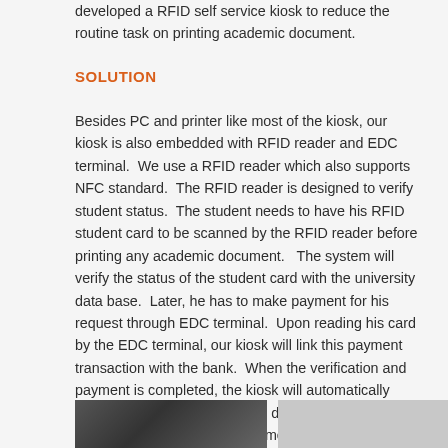developed a RFID self service kiosk to reduce the routine task on printing academic document.
SOLUTION
Besides PC and printer like most of the kiosk, our kiosk is also embedded with RFID reader and EDC terminal.  We use a RFID reader which also supports NFC standard.  The RFID reader is designed to verify student status.  The student needs to have his RFID student card to be scanned by the RFID reader before printing any academic document.   The system will verify the status of the student card with the university data base.  Later, he has to make payment for his request through EDC terminal.  Upon reading his card by the EDC terminal, our kiosk will link this payment transaction with the bank.  When the verification and payment is completed, the kiosk will automatically print out the request academic documents.  All the process to get academic document can be completed within one station by the student himself, no need for any university staff.
[Figure (photo): Photo of the RFID self service kiosk hardware (left side, darker image showing kiosk panel)]
[Figure (photo): Photo of the RFID self service kiosk hardware (right side, lighter background)]